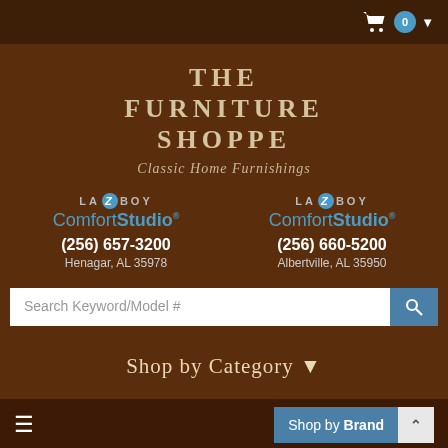Shopping cart icon, 0 items, dropdown
THE FURNITURE SHOPPE
Classic Home Furnishings
[Figure (logo): La-Z-Boy Comfort Studio logo with phone (256) 657-3200, Henagar, AL 35978]
[Figure (logo): La-Z-Boy Comfort Studio logo with phone (256) 660-5200, Albertville, AL 35950]
Search Keyword/Model #
Shop by Category ▾
≡
Shop by Brand ∧